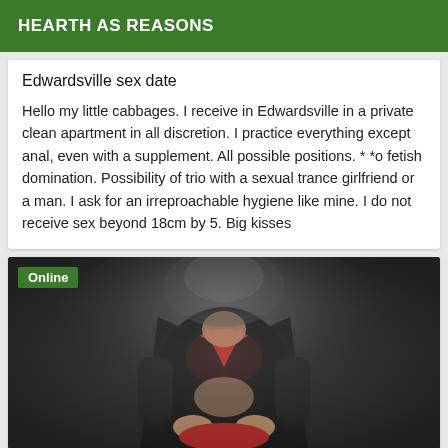HEARTH AS REASONS
Edwardsville sex date
Hello my little cabbages. I receive in Edwardsville in a private clean apartment in all discretion. I practice everything except anal, even with a supplement. All possible positions. * *o fetish domination. Possibility of trio with a sexual trance girlfriend or a man. I ask for an irreproachable hygiene like mine. I do not receive sex beyond 18cm by 5. Big kisses
[Figure (photo): Photo of a woman in a black outfit with red bra, posed suggestively. An 'Online' green badge is shown in the top-left corner of the photo card.]